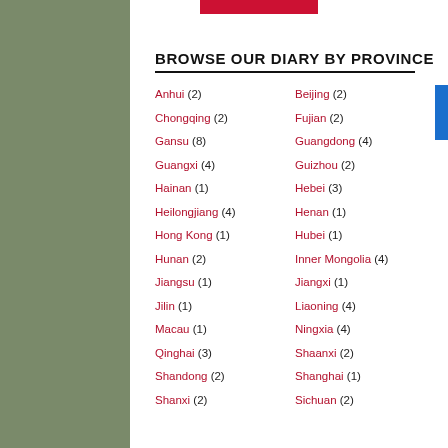BROWSE OUR DIARY BY PROVINCE
Anhui (2)
Beijing (2)
Chongqing (2)
Fujian (2)
Gansu (8)
Guangdong (4)
Guangxi (4)
Guizhou (2)
Hainan (1)
Hebei (3)
Heilongjiang (4)
Henan (1)
Hong Kong (1)
Hubei (1)
Hunan (2)
Inner Mongolia (4)
Jiangsu (1)
Jiangxi (1)
Jilin (1)
Liaoning (4)
Macau (1)
Ningxia (4)
Qinghai (3)
Shaanxi (2)
Shandong (2)
Shanghai (1)
Shanxi (2)
Sichuan (2)